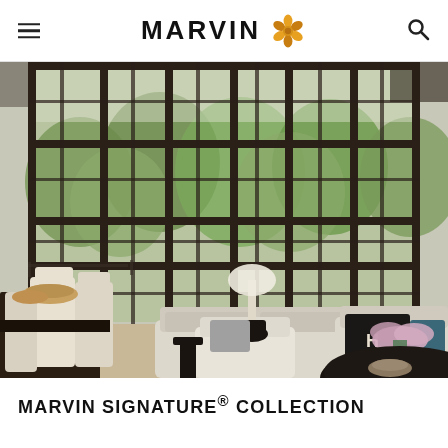MARVIN (logo with hamburger menu and search icon)
[Figure (photo): Interior living room with large dark-framed floor-to-ceiling windows and doors, showing a dining area with white chairs on the left, a living area with upholstered sofas and armchairs in neutral tones, a table lamp, and a round dark coffee table. Green trees are visible through the windows.]
MARVIN SIGNATURE® COLLECTION